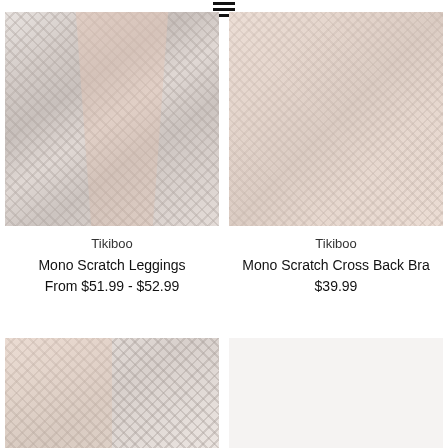[Figure (photo): Tikiboo Mono Scratch Leggings - close-up photo of woman wearing white/grey patterned leggings]
Tikiboo
Mono Scratch Leggings
From $51.99 - $52.99
[Figure (photo): Tikiboo Mono Scratch Cross Back Bra - close-up photo of woman wearing white/grey patterned sports bra]
Tikiboo
Mono Scratch Cross Back Bra
$39.99
[Figure (photo): Tikiboo patterned shorts/leggings - close-up partial photo showing grey/white patterned athletic wear]
[Figure (photo): Plain light grey/white product photo - mostly blank athletic wear item]